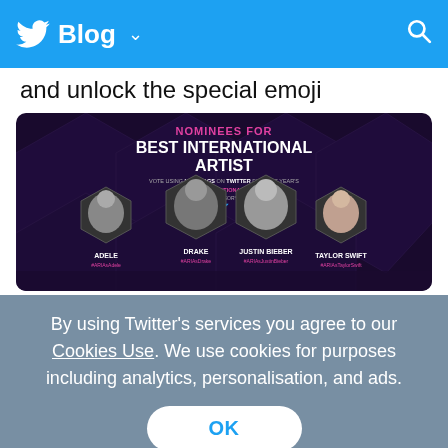Blog
and unlock the special emoji
[Figure (screenshot): Nominees for Best International Artist promotional image featuring Adele (#ARIAsAdele), Taylor Swift (#ARIAsTaylorSwift), Drake (#ARIAsDrake), Justin Bieber (#ARIAsJustinBieber) with Twitter bird logo center, vote using hashtags on Twitter]
By using Twitter's services you agree to our Cookies Use. We use cookies for purposes including analytics, personalisation, and ads.